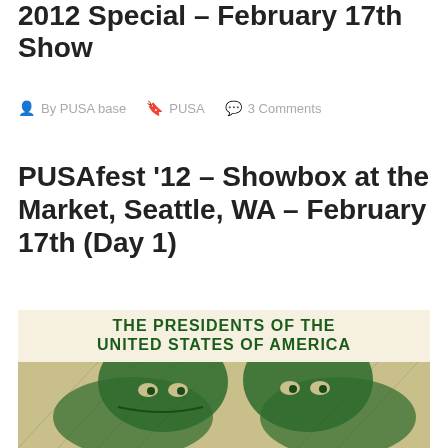2012 Special – February 17th Show
By PUSA base  PUSA  3 Comments
PUSAfest ’12 – Showbox at the Market, Seattle, WA – February 17th (Day 1)
[Figure (illustration): Concert poster for The Presidents of the United States of America, featuring two stylized green-tinted faces on a cream/yellow background with bold green text reading THE PRESIDENTS OF THE UNITED STATES OF AMERICA]